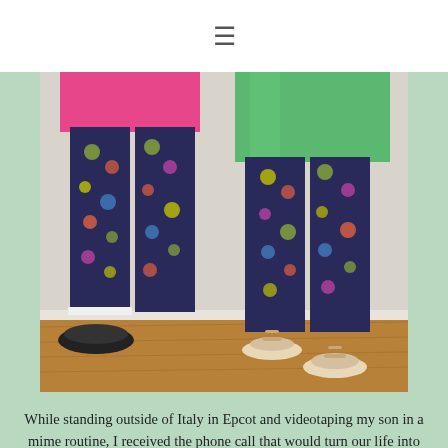≡
[Figure (photo): Two people standing side by side wearing matching colorful floral-patterned leggings. One person on the left wears a pink top and black flat shoes; the other on the right wears a green top and white sandals. They are photographed from the waist down. The background shows a light wall and a wooden floor.]
While standing outside of Italy in Epcot and videotaping my son in a mime routine, I received the phone call that would turn our life into this crazy